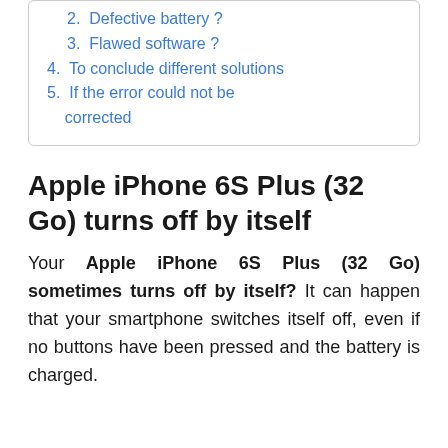2.  Defective battery ?
3.  Flawed software ?
4.  To conclude different solutions
5.  If the error could not be corrected
Apple iPhone 6S Plus (32 Go) turns off by itself
Your Apple iPhone 6S Plus (32 Go) sometimes turns off by itself? It can happen that your smartphone switches itself off, even if no buttons have been pressed and the battery is charged.